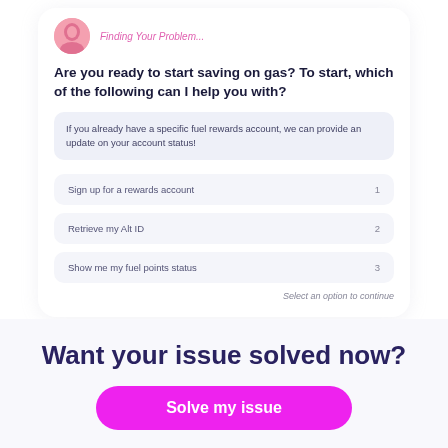[Figure (screenshot): Chatbot UI card showing a question and three selectable options. Bot avatar with pink illustration at top. Question: 'Are you ready to start saving on gas? To start, which of the following can I help you with?' Info box: 'If you already have a specific fuel rewards account, we can provide an update on your account status!' Options: 1. Sign up for a rewards account, 2. Retrieve my Alt ID, 3. Show me my fuel points status. Footer: 'Select an option to continue']
Want your issue solved now?
Solve my issue